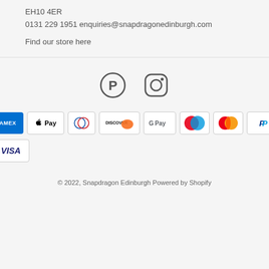EH10 4ER
0131 229 1951 enquiries@snapdragonedinburgh.com
Find our store here
[Figure (logo): Pinterest and Instagram social media icons]
[Figure (infographic): Payment method badges: American Express, Apple Pay, Diners Club, Discover, Google Pay, Maestro, Mastercard, PayPal, Visa]
© 2022, Snapdragon Edinburgh Powered by Shopify